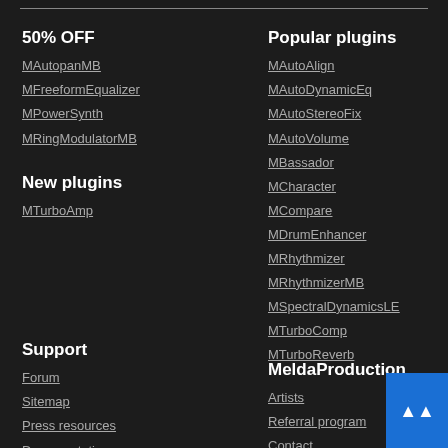50% OFF
MAutopanMB
MFreeformEqualizer
MPowerSynth
MRingModulatorMB
New plugins
MTurboAmp
Popular plugins
MAutoAlign
MAutoDynamicEq
MAutoStereoFix
MAutoVolume
MBassador
MCharacter
MCompare
MDrumEnhancer
MRhythmizer
MRhythmizerMB
MSpectralDynamicsLE
MTurboComp
MTurboReverb
Support
Forum
Sitemap
Press resources
Documentation
MeldaProduction
Artists
Referral program
Contact